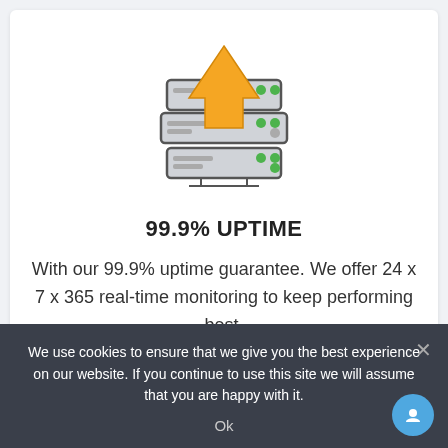[Figure (illustration): Server/upload icon — a rack server device with an orange upward arrow overlaid on it, drawn in flat icon style with gray server unit and green indicator lights]
99.9% UPTIME
With our 99.9% uptime guarantee. We offer 24 x 7 x 365 real-time monitoring to keep performing best.
[Figure (illustration): Partial blue icon visible at the bottom of the second card, partially cut off]
We use cookies to ensure that we give you the best experience on our website. If you continue to use this site we will assume that you are happy with it.
Ok